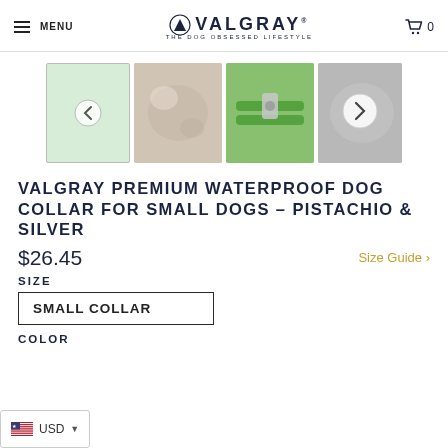MENU | VALGRAY THE DOG OBSESSED LIFESTYLE | 0
[Figure (photo): Four product thumbnail images of a green dog collar. First shows collar with left arrow navigation, second is a close-up floral/natural background, third shows green collar with silver hardware, fourth shows collar on dog with right arrow navigation overlay.]
VALGRAY PREMIUM WATERPROOF DOG COLLAR FOR SMALL DOGS – PISTACHIO & SILVER
$26.45
Size Guide >
SIZE
SMALL COLLAR
COLOR